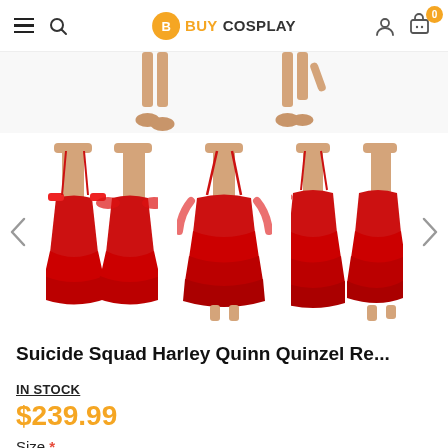BUY COSPLAY
[Figure (photo): Partial view of mannequin legs/feet in two panels at top]
[Figure (photo): Product carousel showing three views of a red ruffled Harley Quinn dress on mannequins, with left and right navigation arrows]
Suicide Squad Harley Quinn Quinzel Re...
IN STOCK
$239.99
Size *